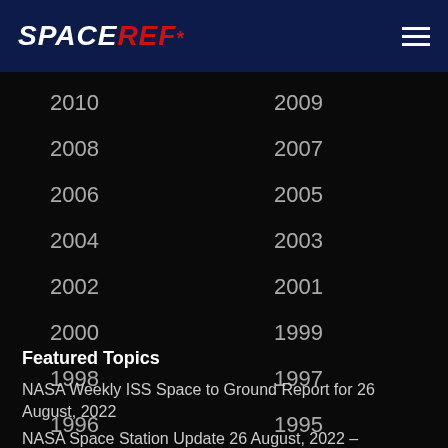SPACEREF*
2010
2009
2008
2007
2006
2005
2004
2003
2002
2001
2000
1999
1998
1997
1996
1995
1994
1993
1992
1989
Featured Topics
NASA Weekly ISS Space to Ground Report for 26 August, 2022
NASA Space Station Update 26 August, 2022 – Biomedical